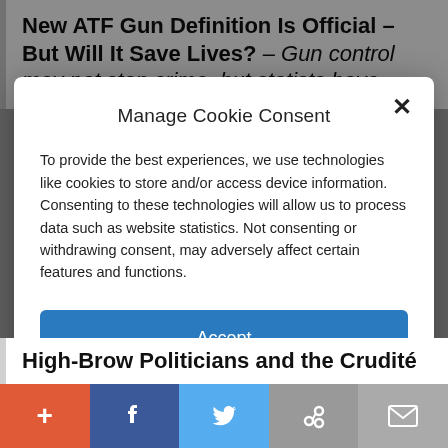New ATF Gun Definition Is Official – But Will It Save Lives? – Gun control may not stop crime, but statists have
Manage Cookie Consent
To provide the best experiences, we use technologies like cookies to store and/or access device information. Consenting to these technologies will allow us to process data such as website statistics. Not consenting or withdrawing consent, may adversely affect certain features and functions.
Accept
Cookie Policy   Privacy Policy
High-Brow Politicians and the Crudité
+ f 🐦 🔗 ✉